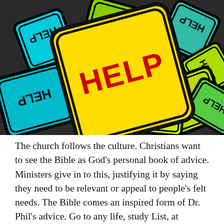[Figure (illustration): A colorful pile of diamond-shaped road signs, each reading 'HELP' in bold black letters on yellow backgrounds with black borders. The signs are oriented in various directions (some upside down, some sideways). The central foremost sign displays 'HELP' in large red bold text on a yellow diamond sign. Signs are various colors including yellow-green, cyan, orange, and green.]
The church follows the culture. Christians want to see the Bible as God's personal book of advice. Ministers give in to this, justifying it by saying they need to be relevant or appeal to people's felt needs. The Bible comes an inspired form of Dr. Phil's advice. Go to any life, study List, at...